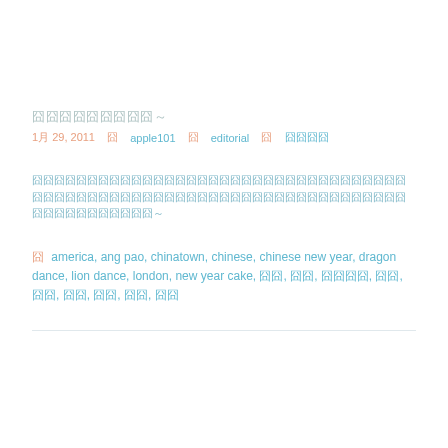囧囧囧囧囧囧囧囧囧～
1月 29, 2011   囧  apple101   囧  editorial   囧  囧囧囧囧
囧囧囧囧囧囧囧囧囧囧囧囧囧囧囧囧囧囧囧囧囧囧囧囧囧囧囧囧囧囧囧囧囧囧囧囧囧囧囧囧囧囧囧囧囧囧囧囧囧囧囧囧囧囧囧囧囧囧囧囧囧囧囧囧囧囧囧囧囧囧囧囧囧囧囧囧囧～
囧  america, ang pao, chinatown, chinese, chinese new year, dragon dance, lion dance, london, new year cake, 囧囧, 囧囧, 囧囧囧囧, 囧囧, 囧囧, 囧囧, 囧囧, 囧囧, 囧囧